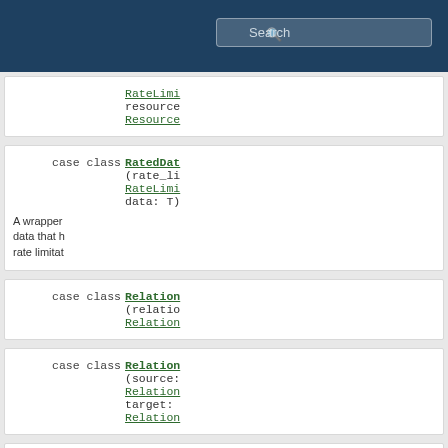Search
case class RateLimit
resource
Resource
case class RatedData
(rate_li
RateLimit
data: T)
A wrapper data that has rate limitation
case class Relation
(relatio
Relation
case class Relation
(source:
Relation
target:
Relation
case class Relation
Long, id
screen n